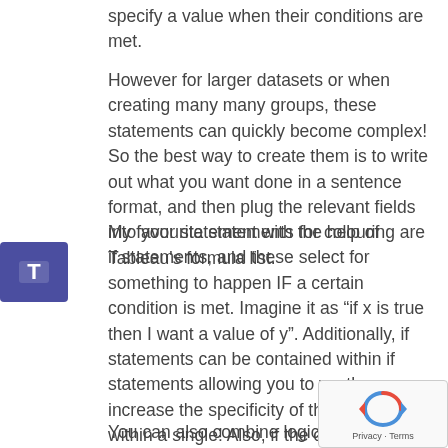specify a value when their conditions are met.
However for larger datasets or when creating many many groups, these statements can quickly become complex! So the best way to create them is to write out what you want done in a sentence format, and then plug the relevant fields into your statement with the help of Tableau's formula list.
My favourite statements for colouring are if statements, and these select for something to happen IF a certain condition is met. Imagine it as “if x is true then I want a value of y”. Additionally, if statements can be contained within if statements allowing you to vastly increase the specificity of the grouping within a single! Also, if the conditions are not met, then the value will be returned as a null which is really easy to filter out of Tableau vizzes
You can also combine logic calculations with